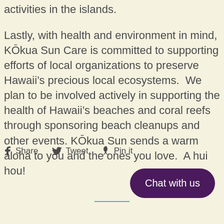activities in the islands.
Lastly, with health and environment in mind, Kōkua Sun Care is committed to supporting efforts of local organizations to preserve Hawaii's precious local ecosystems.  We plan to be involved actively in supporting the health of Hawaii's beaches and coral reefs through sponsoring beach cleanups and other events. Kōkua Sun sends a warm aloha to you and the ones you love.  A hui hou!
f Share  🐦 Tweet  📌 Pin it
Chat with us